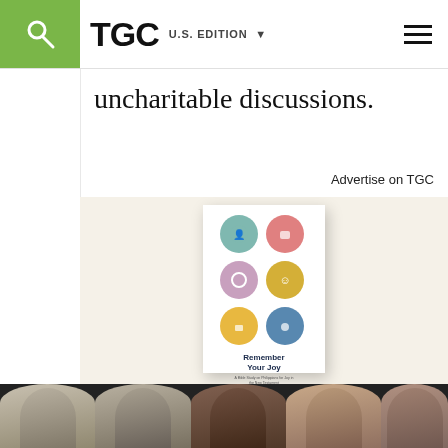TGC U.S. EDITION
uncharitable discussions.
Advertise on TGC
[Figure (illustration): Advertisement banner for 'Remember Your Joy' Women's Bible Study featuring book cover with circular illustrated icons and 7 video talks text, with speaker photos at bottom]
Remember Your Joy
WOMEN'S BIBLE STUDY
FEATURES 7 VIDEO TALKS